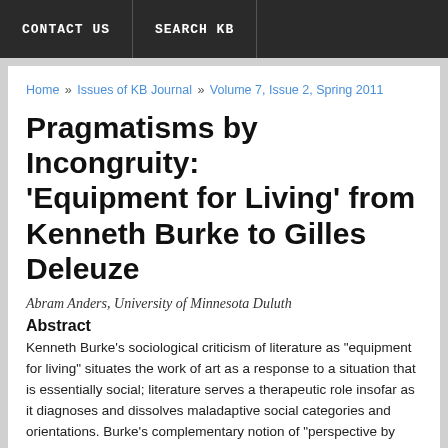CONTACT US  SEARCH KB
Home » Issues of KB Journal » Volume 7, Issue 2, Spring 2011
Pragmatisms by Incongruity: ‘Equipment for Living’ from Kenneth Burke to Gilles Deleuze
Abram Anders, University of Minnesota Duluth
Abstract
Kenneth Burke’s sociological criticism of literature as “equipment for living” situates the work of art as a response to a situation that is essentially social; literature serves a therapeutic role insofar as it diagnoses and dissolves maladaptive social categories and orientations. Burke’s complementary notion of “perspective by incongruity” describes the way in which artists push a system of belief or interpretive scheme to its limits by deliberating creating effects which escape its means of formalization. In the work of Gilles Deleuze, we encounter similarly the artist of literature and discourse